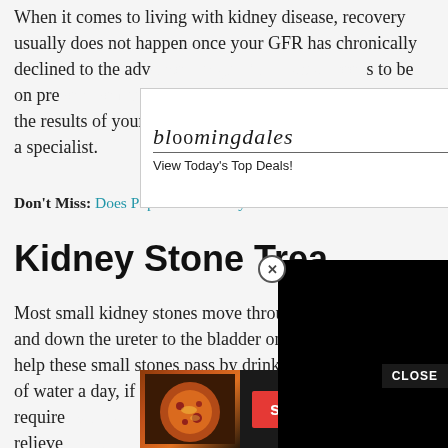When it comes to living with kidney disease, recovery usually does not happen once your GFR has chronically declined to the adv... s to be on pre... ake sure to discuss the results of your GFR and ask if you should be seen by a specialist.
[Figure (screenshot): Bloomingdale's advertisement banner: logo with 'View Today's Top Deals!' text, image of woman in hat, and 'SHOP NOW >' button]
Don't Miss: Does Pop Cause Kidney Stones
Kidney Stone Trea...
Most small kidney stones move... down the ureter to the bladder o... these small stones pass by drinking up to three quarts of water a day, if you dont have a medical condition that require... pain relieve... en may
[Figure (screenshot): Black video player overlay with close (X) button and CLOSE bar]
[Figure (screenshot): Seamless food delivery advertisement with pizza image, seamless logo, and ORDER NOW button]